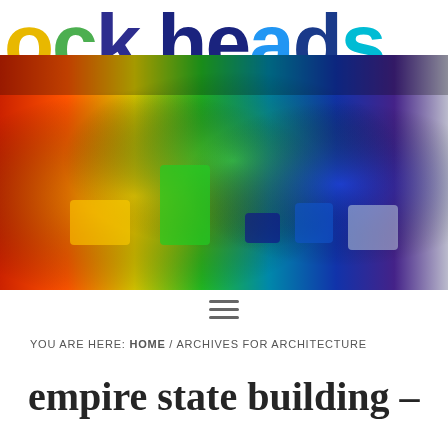blockheads
[Figure (photo): Hero image of colorful transparent LEGO bricks arranged in a rainbow spectrum with light effects]
≡
YOU ARE HERE: HOME / ARCHIVES FOR ARCHITECTURE
empire state building –